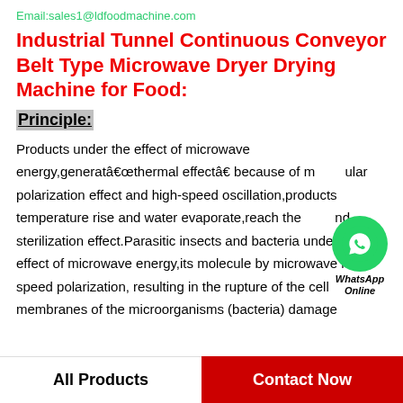Email:sales1@ldfoodmachine.com
Industrial Tunnel Continuous Conveyor Belt Type Microwave Dryer Drying Machine for Food:
Principle:
Products under the effect of microwave energy,generatâthermal effectâ because of molecular polarization effect and high-speed oscillation,products temperature rise and water evaporate,reach the drying and sterilization effect.Parasitic insects and bacteria under the effect of microwave energy,its molecule by microwave high-speed polarization, resulting in the rupture of the cell membranes of the microorganisms (bacteria) damage
[Figure (logo): WhatsApp Online chat bubble icon]
All Products   Contact Now